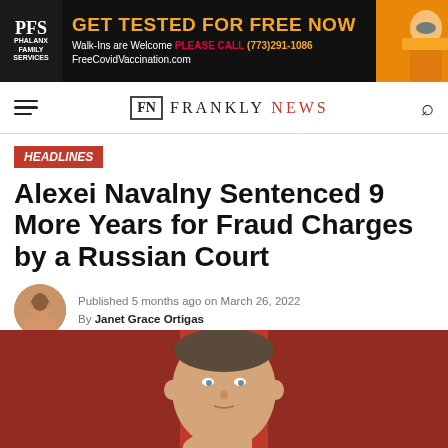[Figure (infographic): Advertisement banner: GET TESTED FOR FREE NOW. Walk-Ins are Welcome PLEASE CALL (773)291-1086. FreeCovidVaccination.com. Phalanx Family Services logo on left, person in orange with mask on right.]
FN FRANKLY NEWS
HEADLINES
Alexei Navalny Sentenced 9 More Years for Fraud Charges by a Russian Court
Published 5 months ago on March 26, 2022
By Janet Grace Ortigas
[Figure (photo): Photo of Alexei Navalny against a red background, showing his head and upper body, making a gesture with his hand.]